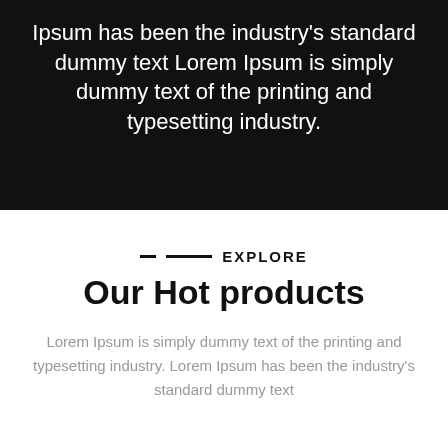Ipsum has been the industry's standard dummy text Lorem Ipsum is simply dummy text of the printing and typesetting industry.
[Figure (photo): Dark black background section, partially obscured with a faint shape or object visible at the bottom right.]
— —— EXPLORE
Our Hot products
Lorem Ipsum is simply dummy text of the printing and typesetting industry. Lorem Ipsum has been the industry's standard dummy text